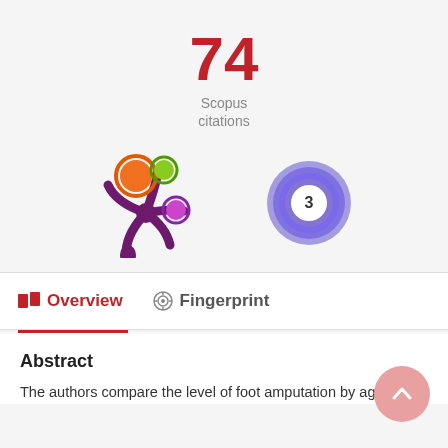74
Scopus citations
[Figure (illustration): PlumX Metrics icon showing orange, green, and purple colored circles with a purple asterisk/splash shape underneath]
[Figure (illustration): Circular badge with number 3 inside, rendered as a blue/purple concentric ring design]
Overview
Fingerprint
Abstract
The authors compare the level of foot amputation by age,